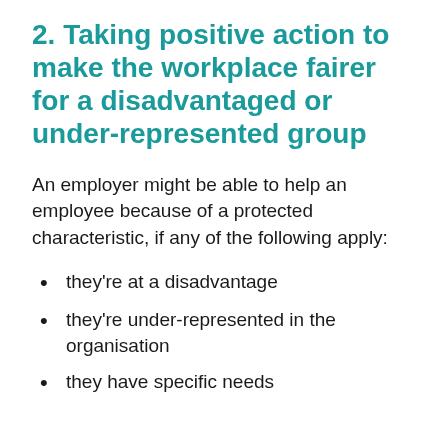2. Taking positive action to make the workplace fairer for a disadvantaged or under-represented group
An employer might be able to help an employee because of a protected characteristic, if any of the following apply:
they're at a disadvantage
they're under-represented in the organisation
they have specific needs